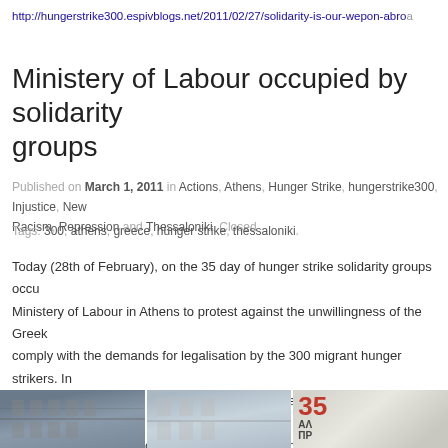http://hungerstrike300.espivblogs.net/2011/02/27/solidarity-is-our-wepon-abro
Ministery of Labour occupied by solidarity groups
Published on March 1, 2011 in Actions, Athens, Hunger Strike, hungerstrike300, Injustice, New... Racism, Repression and Thessaloniki. Closed
Tags: 300, athens, greece, hunger strike, thessaloniki.
Today (28th of February), on the 35 day of hunger strike solidarity groups occu... Ministery of Labour in Athens to protest against the unwillingness of the Greek... comply with the demands for legalisation by the 300 migrant hunger strikers. In... 2010 an egyptian man, who was working as a cleaner at the Ministry of Labour... security measures fell to his death from the 3 floor of the building while cleaning... The solidarity groups call for a gathering at 2 p.m. in the Platia Korai, in front of... solidarity!
[Figure (photo): Three photos: two showing a building exterior (Ministry of Labour), one showing a sign with '35' in red and Cyrillic/Greek text.]